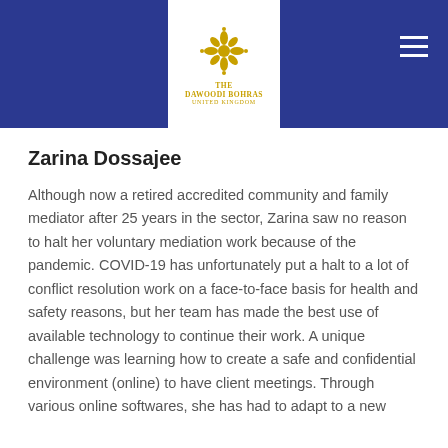[Figure (logo): The Dawoodi Bohras United Kingdom logo with ornate golden floral emblem and text in white header bar]
Zarina Dossajee
Although now a retired accredited community and family mediator after 25 years in the sector, Zarina saw no reason to halt her voluntary mediation work because of the pandemic. COVID-19 has unfortunately put a halt to a lot of conflict resolution work on a face-to-face basis for health and safety reasons, but her team has made the best use of available technology to continue their work. A unique challenge was learning how to create a safe and confidential environment (online) to have client meetings. Through various online softwares, she has had to adapt to a new